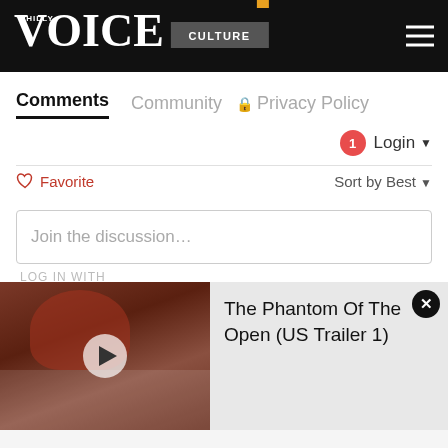PHILLY VOICE — CULTURE
Comments  Community  Privacy Policy
Login ▼
♡ Favorite   Sort by Best ▼
Join the discussion…
LOG IN WITH
[Figure (screenshot): Video player thumbnail showing a man in a red hat, with title 'The Phantom Of The Open (US Trailer 1)']
The Tonner
3 months ago edited